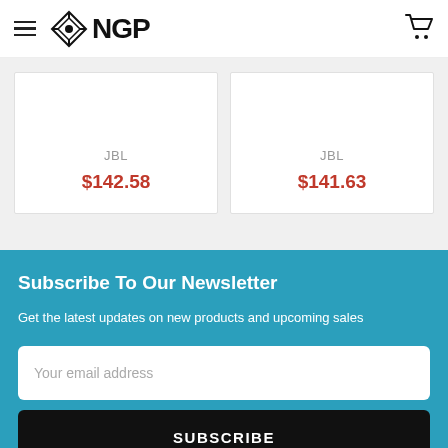NGP
JBL $142.58
JBL $141.63
Subscribe To Our Newsletter
Get the latest updates on new products and upcoming sales
Your email address
SUBSCRIBE